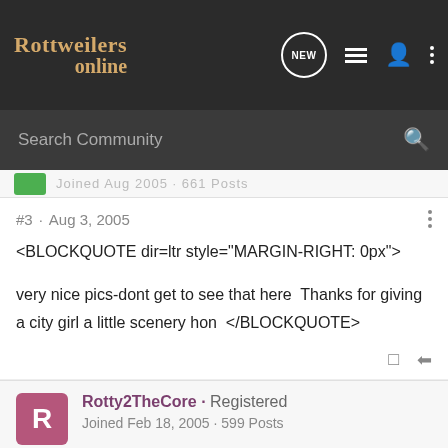[Figure (screenshot): Rottweilers Online forum website navigation bar with logo, NEW bubble icon, list icon, user icon, and dots menu icon on dark background]
[Figure (screenshot): Dark gray search bar with 'Search Community' placeholder text and magnifying glass icon]
Joined Aug 2005 · 661 Posts
#3 · Aug 3, 2005
<BLOCKQUOTE dir=ltr style="MARGIN-RIGHT: 0px">
very nice pics-dont get to see that here  Thanks for giving a city girl a little scenery hon  </BLOCKQUOTE>
Rotty2TheCore · Registered
Joined Feb 18, 2005 · 599 Posts